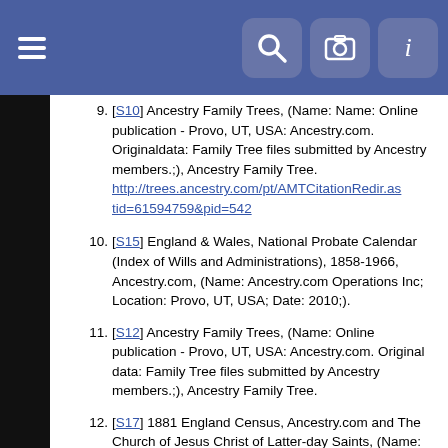Navigation bar with menu and icons
[S10] Ancestry Family Trees, (Name: Name: Online publication - Provo, UT, USA: Ancestry.com. Originaldata: Family Tree files submitted by Ancestry members.;), Ancestry Family Tree. http://trees.ancestry.com/pt/AMTCitationRedir.aspx?tid=61594759&pid=542
[S15] England & Wales, National Probate Calendar (Index of Wills and Administrations), 1858-1966, Ancestry.com, (Name: Ancestry.com Operations Inc; Location: Provo, UT, USA; Date: 2010;).
[S12] Ancestry Family Trees, (Name: Online publication - Provo, UT, USA: Ancestry.com. Original data: Family Tree files submitted by Ancestry members.;), Ancestry Family Tree.
[S17] 1881 England Census, Ancestry.com and The Church of Jesus Christ of Latter-day Saints, (Name: Ancestry.com Operations Inc; Location: Provo, UT, USA; Date: 2004;), Class: RG11; Piece: 2433; Folio: 55; Page: 7; GSU roll: 1341585.